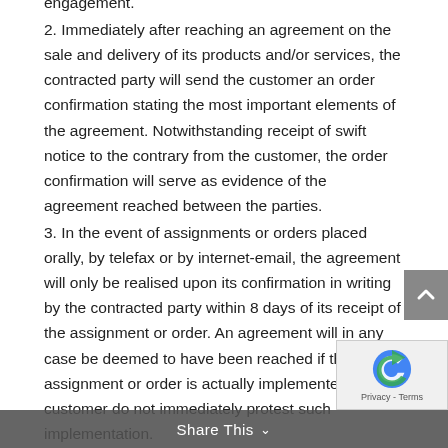engagement.
2. Immediately after reaching an agreement on the sale and delivery of its products and/or services, the contracted party will send the customer an order confirmation stating the most important elements of the agreement. Notwithstanding receipt of swift notice to the contrary from the customer, the order confirmation will serve as evidence of the agreement reached between the parties.
3. In the event of assignments or orders placed orally, by telefax or by internet-email, the agreement will only be realised upon its confirmation in writing by the contracted party within 8 days of its receipt of the assignment or order. An agreement will in any case be deemed to have been reached if the assignment or order is actually implemented and the customer does not immediately protest such implementation.
4. This stipulation will also apply in the event of
Share This